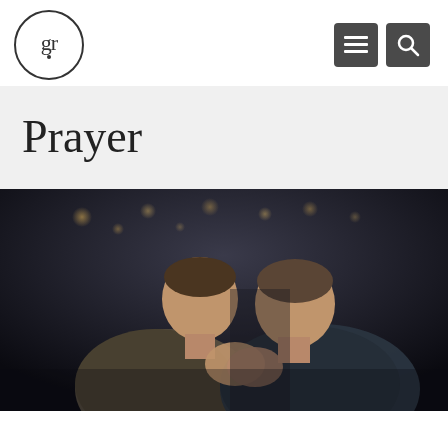gr [logo] with menu and search icons
Prayer
[Figure (photo): Two men bowing their heads in prayer, hands clasped together, in a dark indoor setting with bokeh lights in the background. One man wears a plaid short-sleeve shirt, the other a dark jacket.]